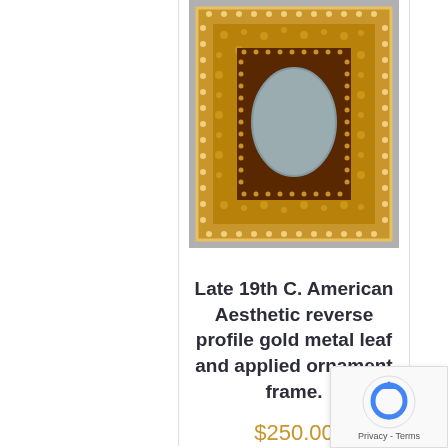[Figure (photo): Ornate gold metal leaf picture frame with applied ornament decoration, featuring a square outer border with beaded edges and a dark inner frame with oval opening, photographed against a gray background.]
Late 19th C. American Aesthetic reverse profile gold metal leaf and applied ornament frame.
$250.00